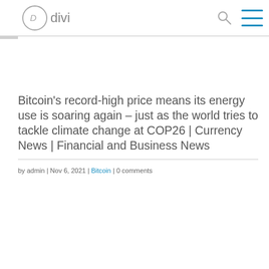divi
Bitcoin’s record-high price means its energy use is soaring again – just as the world tries to tackle climate change at COP26 | Currency News | Financial and Business News
by admin | Nov 6, 2021 | Bitcoin | 0 comments